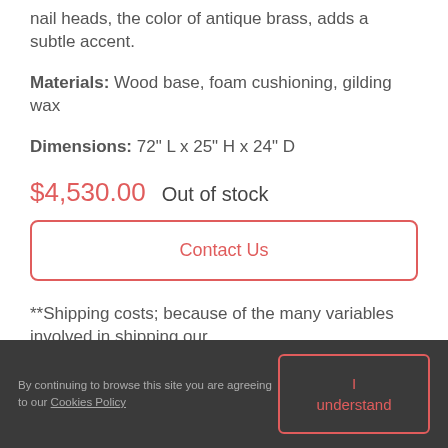nail heads, the color of antique brass, adds a subtle accent.
Materials:  Wood base, foam cushioning, gilding wax
Dimensions:  72" L x 25" H x 24" D
$4,530.00  Out of stock
Contact Us
**Shipping costs; because of the many variables involved in shipping our
By continuing to browse this site you are agreeing to our Cookies Policy  |  I understand